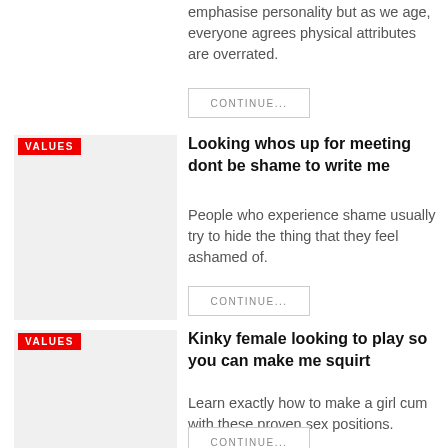emphasise personality but as we age, everyone agrees physical attributes are overrated.
CONTINUE...
[Figure (photo): Thumbnail image placeholder with VALUES badge]
Looking whos up for meeting dont be shame to write me
People who experience shame usually try to hide the thing that they feel ashamed of.
CONTINUE...
[Figure (photo): Thumbnail image placeholder with VALUES badge]
Kinky female looking to play so you can make me squirt
Learn exactly how to make a girl cum with these proven sex positions.
CONTINUE...